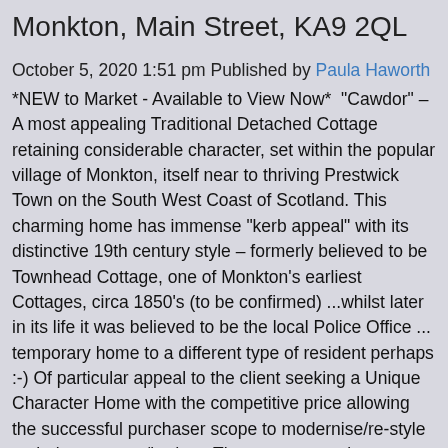Monkton, Main Street, KA9 2QL
October 5, 2020 1:51 pm Published by Paula Haworth
*NEW to Market - Available to View Now*  “Cawdor” – A most appealing Traditional Detached Cottage retaining considerable character, set within the popular village of Monkton, itself near to thriving Prestwick Town on the South West Coast of Scotland. This charming home has immense “kerb appeal” with its distinctive 19th century style – formerly believed to be Townhead Cottage, one of Monkton’s earliest Cottages, circa 1850’s (to be confirmed) ...whilst later in its life it was believed to be the local Police Office ... temporary home to a different type of resident perhaps :-) Of particular appeal to the client seeking a Unique Character Home with the competitive price allowing the successful purchaser scope to modernise/re-style to their own taste/budget. The property retains some character features including high ceilings, cornicing, moulded skirtings and attractive 4 panel internal apartment doors. Concealed to the rear is a larger garden area which extends rearwards and offers the keen gardener space to enjoy their passion or the DIYer to perhaps add a workshop/shed for tinkering. Internal